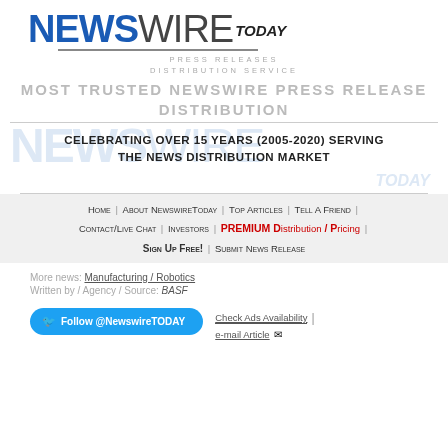[Figure (logo): NewswireToday logo with blue NEWSWIRE and gray WIRE TODAY text]
PRESS RELEASES
DISTRIBUTION SERVICE
MOST TRUSTED NEWSWIRE PRESS RELEASE DISTRIBUTION
CELEBRATING OVER 15 YEARS (2005-2020) SERVING THE NEWS DISTRIBUTION MARKET
Home | About NewswireToday | Top Articles | Tell A Friend | Contact/Live Chat | Investors | PREMIUM Distribution / Pricing | Sign Up Free! | Submit News Release
More news: Manufacturing / Robotics
Written by / Agency / Source: BASF
Follow @NewswireTODAY
Check Ads Availability | e-mail Article